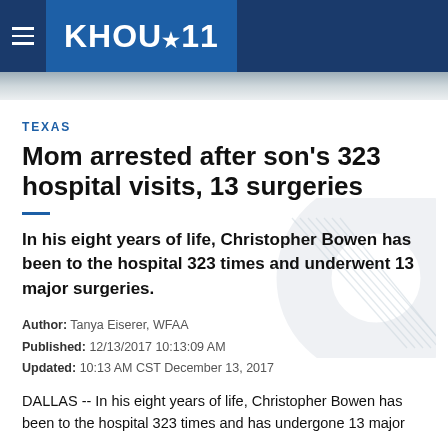KHOU 11
TEXAS
Mom arrested after son's 323 hospital visits, 13 surgeries
In his eight years of life, Christopher Bowen has been to the hospital 323 times and underwent 13 major surgeries.
Author: Tanya Eiserer, WFAA
Published: 12/13/2017 10:13:09 AM
Updated: 10:13 AM CST December 13, 2017
DALLAS -- In his eight years of life, Christopher Bowen has been to the hospital 323 times and has undergone 13 major